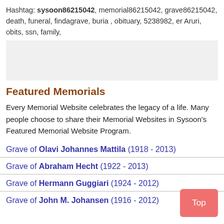Hashtag: sysoon86215042, memorial86215042, grave86215042, death, funeral, findagrave, buria , obituary, 5238982, er Aruri, obits, ssn, family,
[Figure (other): Gray placeholder box]
Featured Memorials
Every Memorial Website celebrates the legacy of a life. Many people choose to share their Memorial Websites in Sysoon's Featured Memorial Website Program.
Grave of Olavi Johannes Mattila (1918 - 2013)
Grave of Abraham Hecht (1922 - 2013)
Grave of Hermann Guggiari (1924 - 2012)
Grave of John M. Johansen (1916 - 2012)